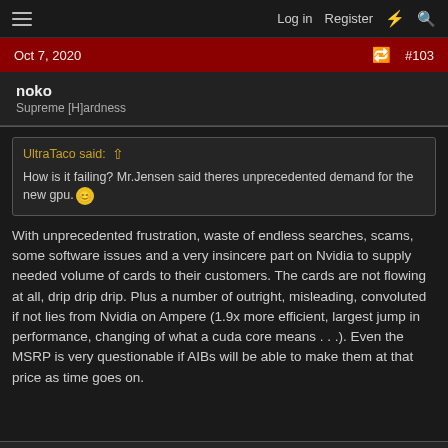Log in  Register  #
Oct 7, 2020   #103
noko
Supreme [H]ardness
UltraTaco said: ↑
How is it failing? Mr.Jensen said theres unprecedented demand for the new gpu. 🙂
With unprecedented frustration, waste of endless searches, scams, some software issues and a very insincere part on Nvidia to supply needed volume of cards to their customers. The cards are not flowing at all, drip drip drip. Plus a number of outright, misleading, convoluted if not lies from Nvidia on Ampere (1.9x more efficient, largest jump in performance, changing of what a cuda core means . . .). Even the MSRP is very questionable if AIBs will be able to make them at that price as time goes on.